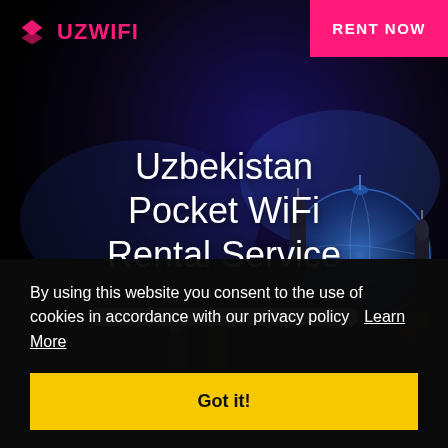[Figure (photo): Night cityscape of Uzbekistan (Samarkand) with illuminated blue dome mosque and towers against dark sky]
UZWIFI logo with pink icon
RENT NOW
Uzbekistan Pocket WiFi Rental Service
By using this website you consent to the use of cookies in accordance with our privacy policy  Learn More
Got it!